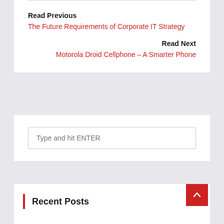Read Previous
The Future Requirements of Corporate IT Strategy
Read Next
Motorola Droid Cellphone – A Smarter Phone
Type and hit ENTER
Recent Posts